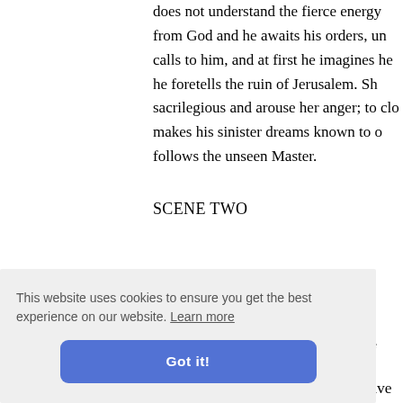does not understand the fierce energy from God and he awaits his orders, un calls to him, and at first he imagines he he foretells the ruin of Jerusalem. Sh sacrilegious and arouse her anger; to clo makes his sinister dreams known to o follows the unseen Master.
SCENE TWO
THE WARNING.
In the great square of Jerusalem, in f
[Figure (screenshot): Cookie consent banner with text 'This website uses cookies to ensure you get the best experience on our website. Learn more' and a 'Got it!' button]